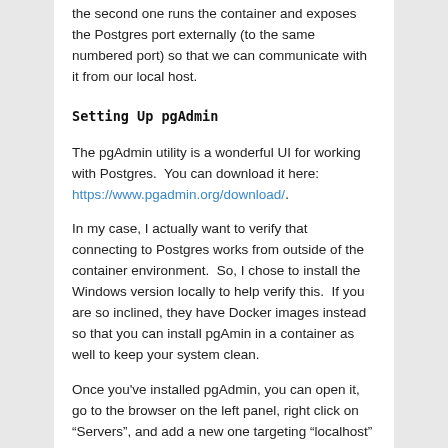the second one runs the container and exposes the Postgres port externally (to the same numbered port) so that we can communicate with it from our local host.
Setting Up pgAdmin
The pgAdmin utility is a wonderful UI for working with Postgres.  You can download it here: https://www.pgadmin.org/download/.
In my case, I actually want to verify that connecting to Postgres works from outside of the container environment.  So, I chose to install the Windows version locally to help verify this.  If you are so inclined, they have Docker images instead so that you can install pgAmin in a container as well to keep your system clean.
Once you've installed pgAdmin, you can open it, go to the browser on the left panel, right click on “Servers”, and add a new one targeting “localhost” and port “5432”.
Once you do that and open it, you should hopefully be able